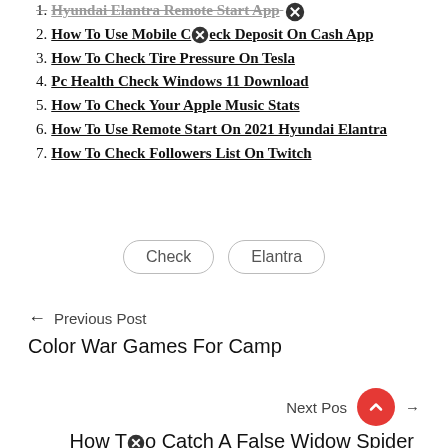1. Hyundai Elantra Remote Start App
2. How To Use Mobile Check Deposit On Cash App
3. How To Check Tire Pressure On Tesla
4. Pc Health Check Windows 11 Download
5. How To Check Your Apple Music Stats
6. How To Use Remote Start On 2021 Hyundai Elantra
7. How To Check Followers List On Twitch
Check  Elantra
← Previous Post
Color War Games For Camp
Next Post →
How To Catch A False Widow Spider